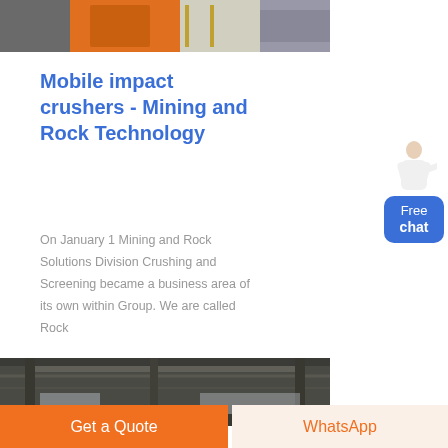[Figure (photo): Top photo showing industrial mining equipment with orange and grey machinery]
Mobile impact crushers - Mining and Rock Technology
On January 1 Mining and Rock Solutions Division Crushing and Screening became a business area of its own within Group. We are called Rock
[Figure (photo): Bottom photo showing interior of industrial building with grey concrete structure]
Get a Quote
WhatsApp